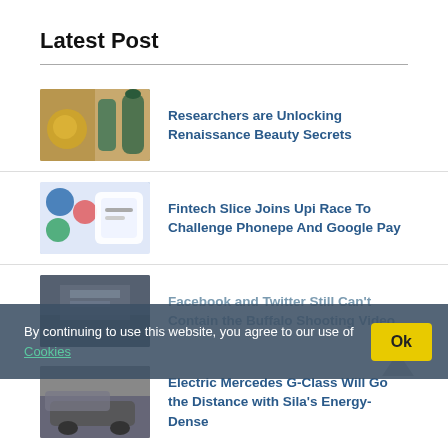Latest Post
[Figure (photo): Thumbnail image of Renaissance beauty items - bowl and glass bottles]
Researchers are Unlocking Renaissance Beauty Secrets
[Figure (photo): Thumbnail image of fintech app on phone with payment logos]
Fintech Slice Joins Upi Race To Challenge Phonepe And Google Pay
[Figure (photo): Thumbnail image related to Buffalo shooting video news]
Facebook and Twitter Still Can't Contain the Buffalo Shooting Video
By continuing to use this website, you agree to our use of Cookies
[Figure (photo): Thumbnail image of Electric Mercedes G-Class vehicle]
Electric Mercedes G-Class Will Go the Distance with Sila's Energy-Dense